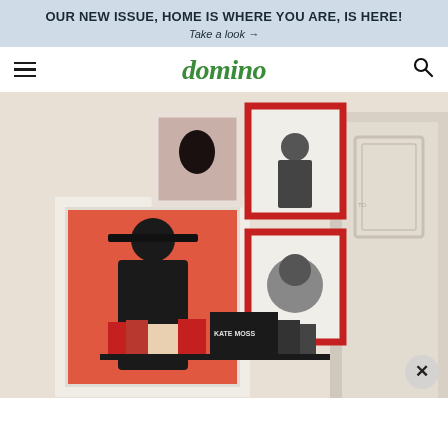OUR NEW ISSUE, HOME IS WHERE YOU ARE, IS HERE! Take a look →
domino
[Figure (photo): Gallery wall with framed fashion photographs including a large orange-background portrait, black and white photos with red frames, a white ornate door frame on right, and a shelf with books including 'KATE MOSS' at bottom.]